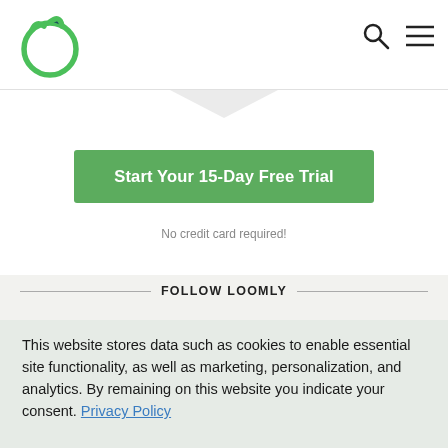[Figure (logo): Loomly logo: green cat-face circle outline with dark teal ear accent]
[Figure (illustration): Navigation icons: magnifying glass (search) and hamburger menu]
Start Your 15-Day Free Trial
No credit card required!
FOLLOW LOOMLY
This website stores data such as cookies to enable essential site functionality, as well as marketing, personalization, and analytics. By remaining on this website you indicate your consent. Privacy Policy